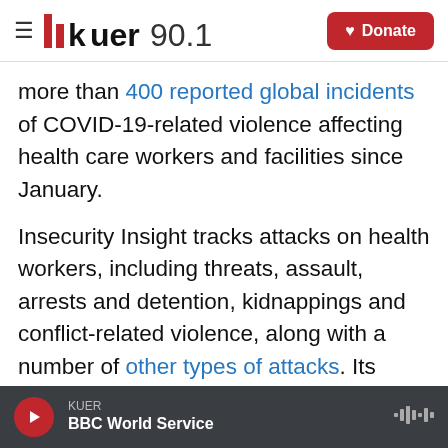KUER 90.1 | Donate
more than 400 reported global incidents of COVID-19-related violence affecting health care workers and facilities since January.
Insecurity Insight tracks attacks on health workers, including threats, assault, arrests and detention, kidnappings and conflict-related violence, along with a number of other types of attacks. Its researchers comb through incident reports from the World Health Organization and groups such as the Aid Worker Security Database and Physicians for Human Rights, along with media reports.
KUER | BBC World Service